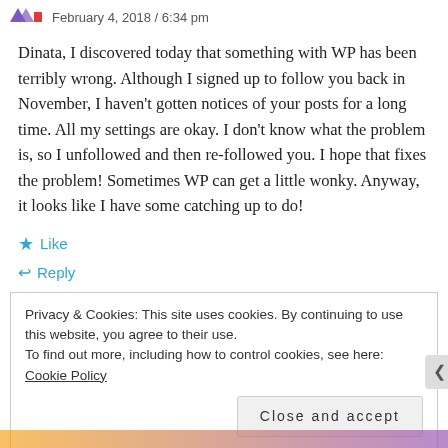February 4, 2018 / 6:34 pm
Dinata, I discovered today that something with WP has been terribly wrong. Although I signed up to follow you back in November, I haven't gotten notices of your posts for a long time. All my settings are okay. I don't know what the problem is, so I unfollowed and then re-followed you. I hope that fixes the problem! Sometimes WP can get a little wonky. Anyway, it looks like I have some catching up to do!
Like
Reply
Privacy & Cookies: This site uses cookies. By continuing to use this website, you agree to their use.
To find out more, including how to control cookies, see here: Cookie Policy
Close and accept